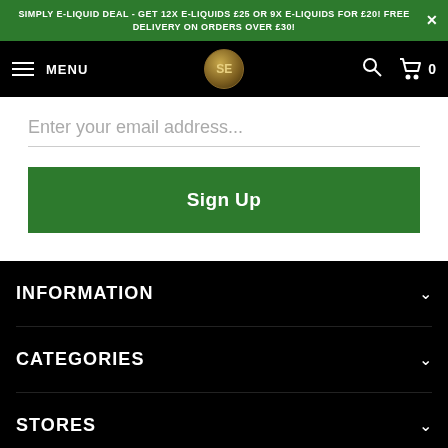SIMPLY E-LIQUID DEAL - GET 12X E-LIQUIDS £25 OR 9X E-LIQUIDS FOR £20! FREE DELIVERY ON ORDERS OVER £30!
[Figure (screenshot): Navigation bar with hamburger menu, MENU text, SE logo in gold circle, search icon, and cart icon with 0]
Enter your email address...
Sign Up
INFORMATION
CATEGORIES
STORES
ACCOUNT